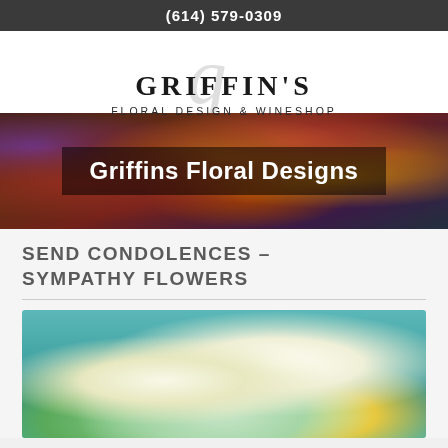(614) 579-0309
[Figure (logo): Griffin's Floral Design & Wineshop logo with decorative script G and serif text]
[Figure (photo): Banner photo of colorful floral arrangement with overlaid text 'Griffins Floral Designs' on dark semi-transparent background]
SEND CONDOLENCES – SYMPATHY FLOWERS
[Figure (photo): Close-up photo of white calla lilies on teal/turquoise background]